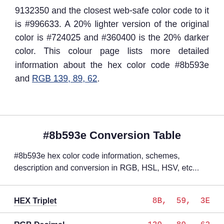9132350 and the closest web-safe color code to it is #996633. A 20% lighter version of the original color is #724025 and #360400 is the 20% darker color. This colour page lists more detailed information about the hex color code #8b593e and RGB 139, 89, 62.
#8b593e Conversion Table
#8b593e hex color code information, schemes, description and conversion in RGB, HSL, HSV, etc...
| Property | Value |
| --- | --- |
| HEX Triplet | 8B, 59, 3E |
| RGB Decimal | 139, 89, 62 |